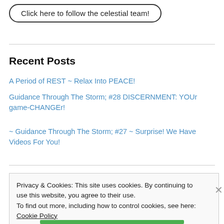[Figure (other): Button with rounded border: 'Click here to follow the celestial team!']
Recent Posts
A Period of REST ~ Relax Into PEACE!
Guidance Through The Storm; #28 DISCERNMENT: YOUr game-CHANGEr!
~ Guidance Through The Storm; #27 ~ Surprise! We Have Videos For You!
Privacy & Cookies: This site uses cookies. By continuing to use this website, you agree to their use.
To find out more, including how to control cookies, see here: Cookie Policy
Close and accept